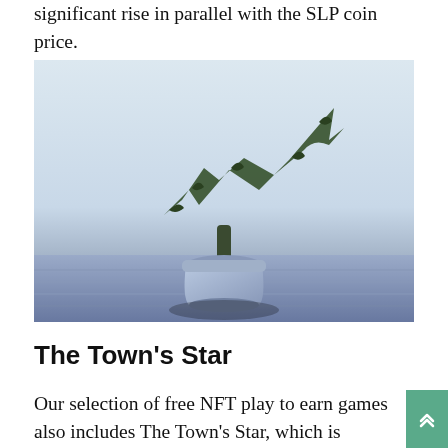significant rise in parallel with the SLP coin price.
[Figure (photo): A potted bonsai tree trimmed into the shape of a stock market growth chart arrow (zigzag going up), placed on a wooden surface against a light blue/grey wall. The image has a blue-tinted filter.]
The Town's Star
Our selection of free NFT play to earn games also includes The Town's Star, which is absolutely